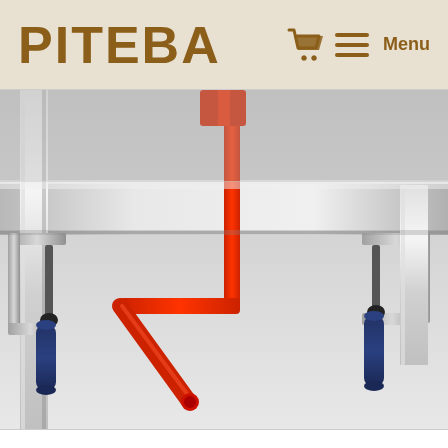PITEBA — Menu
[Figure (photo): Close-up photograph of metallic bar clamps and clamping tools on an aluminum workbench/frame. The image shows two metal C-clamps with blue rubber-grip handles and black screw tips, and a red L-shaped or T-shaped bar crank/handle used to tighten the clamps. The clamps are attached to a shiny aluminum extrusion rail or table frame. The background is light grey/white.]